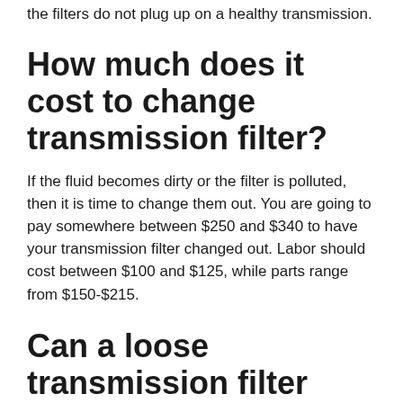the filters do not plug up on a healthy transmission.
How much does it cost to change transmission filter?
If the fluid becomes dirty or the filter is polluted, then it is time to change them out. You are going to pay somewhere between $250 and $340 to have your transmission filter changed out. Labor should cost between $100 and $125, while parts range from $150-$215.
Can a loose transmission filter cause problems?
You may also ask yourself, "Can a...